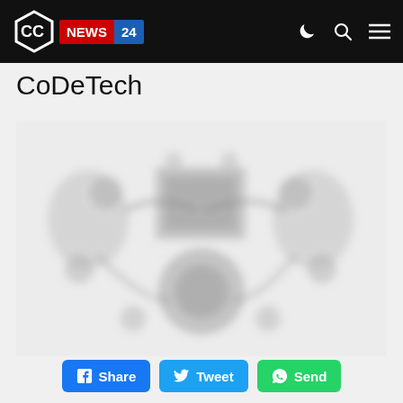CoDe News 24
CoDeTech
[Figure (photo): A blurry/blurred tech diagram or circuit board schematic image, greyscale, showing various electronic or mechanical components arranged in a circular or connected layout on a light background.]
Share  Tweet  Send